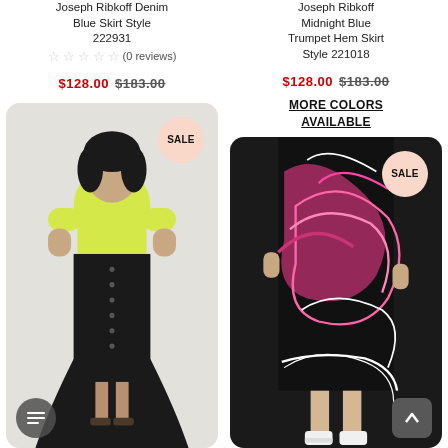Joseph Ribkoff Denim Blue Skirt Style 222931
☆☆☆☆☆ (0 reviews)
$128.00 $183.00
Joseph Ribkoff Midnight Blue Trumpet Hem Skirt Style 221018
$128.00 $183.00
MORE COLORS AVAILABLE
[Figure (photo): Woman wearing yellow short-sleeve top and black midi button-front skirt with trumpet hem, with SALE badge]
[Figure (photo): Close-up of black, pink and white abstract print pencil skirt worn by model, with SALE badge]